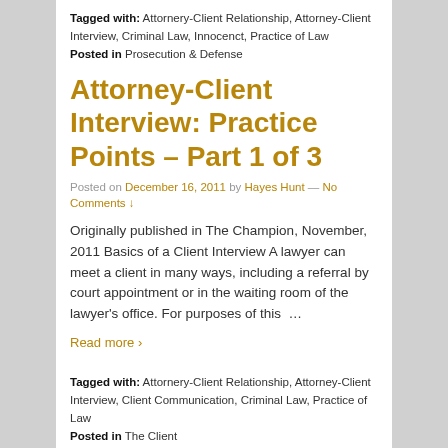Tagged with: Attornery-Client Relationship, Attorney-Client Interview, Criminal Law, Innocenct, Practice of Law
Posted in Prosecution & Defense
Attorney-Client Interview: Practice Points – Part 1 of 3
Posted on December 16, 2011 by Hayes Hunt — No Comments ↓
Originally published in The Champion, November, 2011 Basics of a Client Interview A lawyer can meet a client in many ways, including a referral by court appointment or in the waiting room of the lawyer's office. For purposes of this …
Read more ›
Tagged with: Attornery-Client Relationship, Attorney-Client Interview, Client Communication, Criminal Law, Practice of Law
Posted in The Client